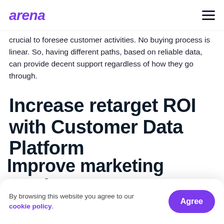arena
crucial to foresee customer activities. No buying process is linear. So, having different paths, based on reliable data, can provide decent support regardless of how they go through.
Increase retarget ROI with Customer Data Platform
Get to know better some of the situations Customer Data Platform can increase the return over your in
Improve marketing results
By browsing this website you agree to our cookie policy.